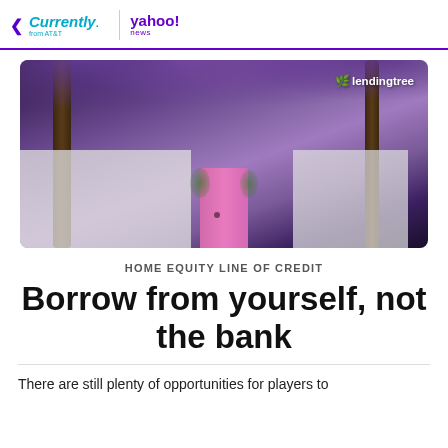< Currently from AT&T | yahoo! news
[Figure (photo): Photo of a white house with a pink front door, framed by hanging purple wisteria flowers on large trees. A lendingtree logo is overlaid in the top right corner of the image.]
HOME EQUITY LINE OF CREDIT
Borrow from yourself, not the bank
There are still plenty of opportunities for players to